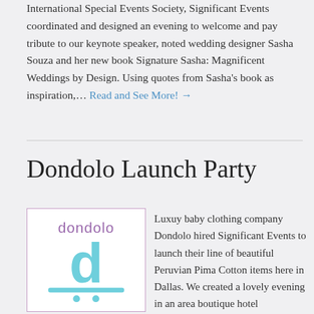International Special Events Society, Significant Events coordinated and designed an evening to welcome and pay tribute to our keynote speaker, noted wedding designer Sasha Souza and her new book Signature Sasha: Magnificent Weddings by Design. Using quotes from Sasha's book as inspiration,… Read and See More! →
Dondolo Launch Party
[Figure (logo): Dondolo brand logo — purple text 'dondolo' above a large cyan 'd' letter with a cyan underline bar and two cyan dots beneath, all within a light purple bordered white box]
Luxuy baby clothing company Dondolo hired Significant Events to launch their line of beautiful Peruvian Pima Cotton items here in Dallas. We created a lovely evening in an area boutique hotel